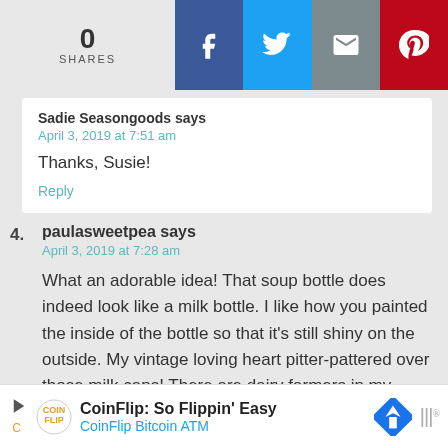[Figure (infographic): Social share bar showing 0 SHARES, with Facebook (blue), Twitter (light blue), Email (gray), and Pinterest (red) buttons]
Sadie Seasongoods says
April 3, 2019 at 7:51 am

Thanks, Susie!

Reply
4. paulasweetpea says
April 3, 2019 at 7:28 am

What an adorable idea! That soup bottle does indeed look like a milk bottle. I like how you painted the inside of the bottle so that it's still shiny on the outside. My vintage loving heart pitter-pattered over those milk caps! There are dairy farmers in my family, so this project particularly appeals to
[Figure (infographic): CoinFlip advertisement banner: CoinFlip: So Flippin' Easy, CoinFlip Bitcoin ATM]